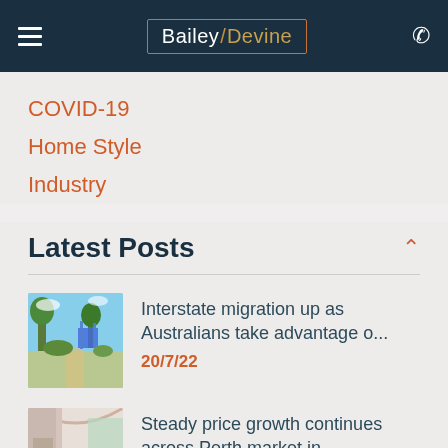Bailey/Devine
COVID-19
Home Style
Industry
Latest Posts
Interstate migration up as Australians take advantage o... 20/7/22
Steady price growth continues across Perth market in...